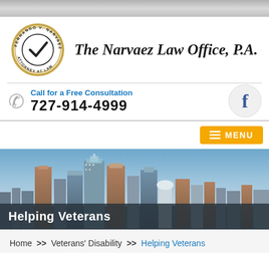[Figure (logo): Circular logo for Fernando V. Narvaez, Attorney at Law with an arrow/checkmark symbol inside]
The Narvaez Law Office, P.A.
Call for a Free Consultation
727-914-4999
[Figure (logo): Facebook logo icon in a gray circle]
MENU
[Figure (photo): City skyline photo with tall buildings against a blue sky]
Helping Veterans
Home >> Veterans' Disability >> Helping Veterans